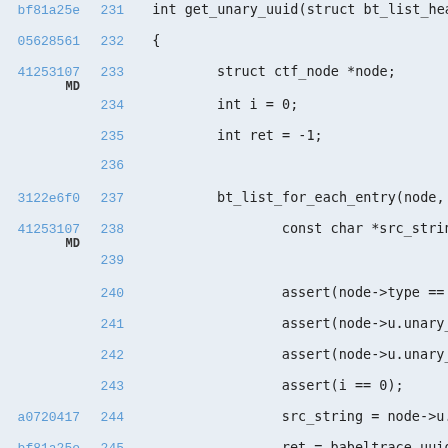Code listing lines 231-246 showing get_unary_uuid function with commit hashes bf81a25e, 05628561, 41253107, 3122e6f0, a0720417
231: int get_unary_uuid(struct bt_list_head *h
232: {
233: struct ctf_node *node;
234: int i = 0;
235: int ret = -1;
236: (empty)
237: bt_list_for_each_entry(node, head
238: const char *src_string;
239: (empty)
240: assert(node->type == NODE
241: assert(node->u.unary_expr
242: assert(node->u.unary_expr
243: assert(i == 0);
244: src_string = node->u.unar
245: ret = babeltrace_uuid_par
246: }